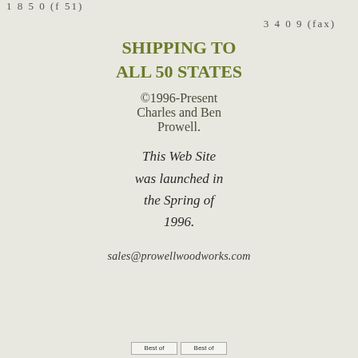1 8 5 0 (f 51)
3 4 0 9 (fax)
SHIPPING TO ALL 50 STATES
©1996-Present Charles and Ben Prowell.
This Web Site was launched in the Spring of 1996.
sales@prowellwoodworks.com
[Figure (other): Two 'Best of' badge/award icons at the bottom of the page]